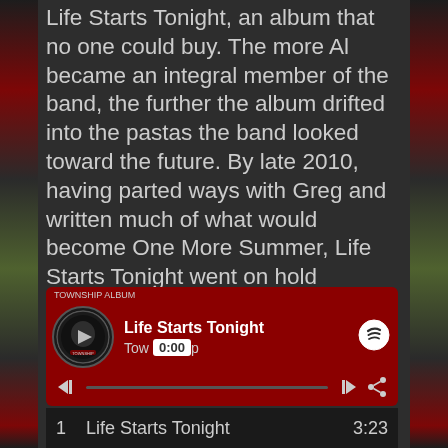Life Starts Tonight, an album that no one could buy. The more Al became an integral member of the band, the further the album drifted into the pastas the band looked toward the future. By late 2010, having parted ways with Greg and written much of what would become One More Summer, Life Starts Tonight went on hold indefinitely. But the fans never forgot about this unreleased album. As the songs, some of the band's strongest, became live favorites, interest in the album increasingly took on a cult-like mystery. Now, finally available after all these years, the album still sounds fresh, alive, and a perfect snapshot of that volatile yet special line-up before Township began its transition to Phase Two.
[Figure (screenshot): Spotify music player widget showing 'Life Starts Tonight' by Township, with album art (circular badge with play button), track title, artist name, time badge showing 0:00, Spotify logo, playback controls (skip back, progress bar, skip forward, share), and a track listing row showing '1  Life Starts Tonight  3:23']